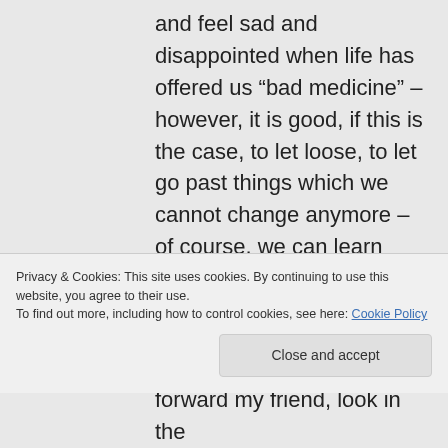and feel sad and disappointed when life has offered us “bad medicine” – however, it is good, if this is the case, to let loose, to let go past things which we cannot change anymore – of course, we can learn from our past why things happened like this in connections with friends and
Privacy & Cookies: This site uses cookies. By continuing to use this website, you agree to their use. To find out more, including how to control cookies, see here: Cookie Policy
forward my friend, look in the